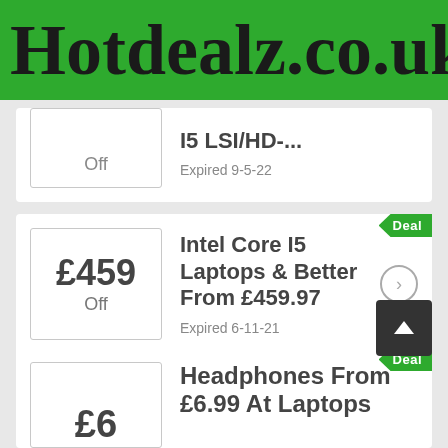Hotdealz.co.uk
Off · I5 LSI/HD-... · Expired 9-5-22
Deal · £459 Off · Intel Core I5 Laptops & Better From £459.97 · Expired 6-11-21
Deal · £6 · Headphones From £6.99 At Laptops...